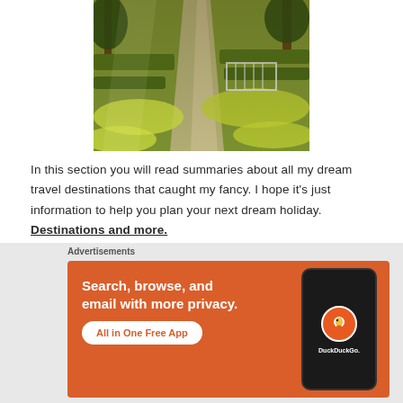[Figure (photo): Aerial view of a garden with stone path, trimmed hedges, yellow-green ground cover, and trees casting shadows]
In this section you will read summaries about all my dream travel destinations that caught my fancy. I hope it's just information to help you plan your next dream holiday. Destinations and more.
[Figure (screenshot): DuckDuckGo advertisement banner with orange background showing 'Search, browse, and email with more privacy. All in One Free App' with phone mockup and DuckDuckGo logo]